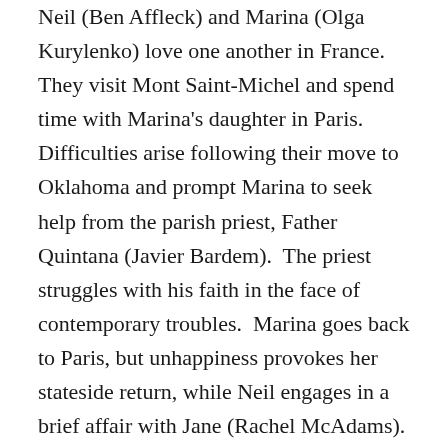Neil (Ben Affleck) and Marina (Olga Kurylenko) love one another in France.  They visit Mont Saint-Michel and spend time with Marina's daughter in Paris.  Difficulties arise following their move to Oklahoma and prompt Marina to seek help from the parish priest, Father Quintana (Javier Bardem).  The priest struggles with his faith in the face of contemporary troubles.  Marina goes back to Paris, but unhappiness provokes her stateside return, while Neil engages in a brief affair with Jane (Rachel McAdams).
Summarising the plot for a Terrence Malick film is perhaps superfluous.  He favours meditations and asking unanswered questions in whispered